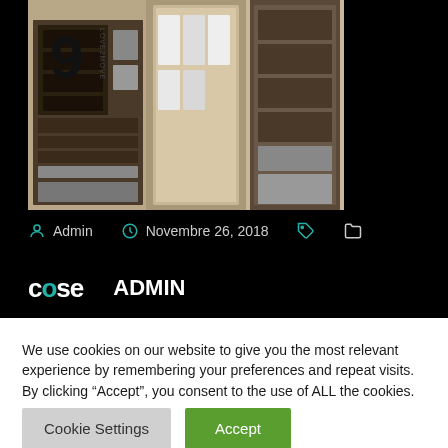[Figure (photo): Interior store/closet photo with shelving units and folded clothes, number 9 and 'LOVE2MOVE' text visible in top left]
Admin   Novembre 26, 2018
ADMIN
We use cookies on our website to give you the most relevant experience by remembering your preferences and repeat visits. By clicking “Accept”, you consent to the use of ALL the cookies.
Do not sell my personal information.
Cookie Settings
Accept